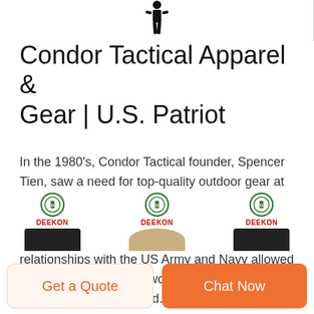[Figure (illustration): Silhouette of a person in tactical stance, shown in black against white background, at top center of page. A vertical gray divider line is visible to the right.]
Condor Tactical Apparel & Gear | U.S. Patriot
In the 1980's, Condor Tactical founder, Spencer Tien, saw a need for top-quality outdoor gear at below-market prices. After the tragic events of 9/11, Spencer and the Condor team found an even greater purpose. Spencer's life-long relationships with the US Army and Navy allowed him to tap into the real-world experiences of soldiers on the battlefield.
[Figure (photo): Three product images at bottom of page, each with a DEEKON green circular badge logo and red DEEKON label. Left image shows a black tactical item, center shows a tan/khaki military helmet, right shows another black tactical item.]